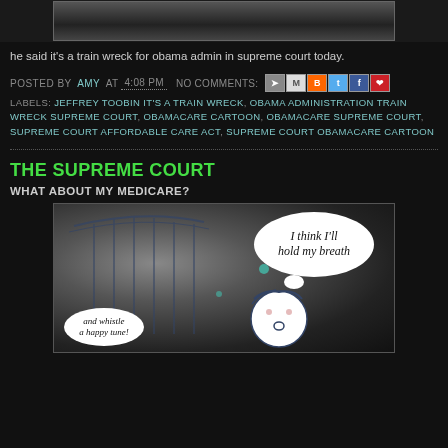[Figure (illustration): Top banner image showing a dark blurred graphic]
he said it's a train wreck for obama admin in supreme court today.
POSTED BY AMY AT 4:08 PM   NO COMMENTS:
LABELS: JEFFREY TOOBIN IT'S A TRAIN WRECK, OBAMA ADMINISTRATION TRAIN WRECK SUPREME COURT, OBAMACARE CARTOON, OBAMACARE SUPREME COURT, SUPREME COURT AFFORDABLE CARE ACT, SUPREME COURT OBAMACARE CARTOON
THE SUPREME COURT
WHAT ABOUT MY MEDICARE?
[Figure (illustration): Cartoon sketch of the Supreme Court building with a character thinking 'I think I'll hold my breath' and a whistle bubble saying 'and whistle a happy tune!']